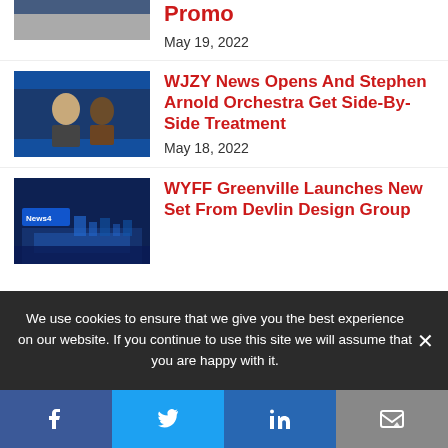Promo
May 19, 2022
[Figure (photo): Two people at a table, news broadcast style image]
WJZY News Opens And Stephen Arnold Orchestra Get Side-By-Side Treatment
May 18, 2022
[Figure (photo): TV news studio set with blue lighting, News 4 branding]
WYFF Greenville Launches New Set From Devlin Design Group
We use cookies to ensure that we give you the best experience on our website. If you continue to use this site we will assume that you are happy with it.
Social share buttons: Facebook, Twitter, LinkedIn, Email